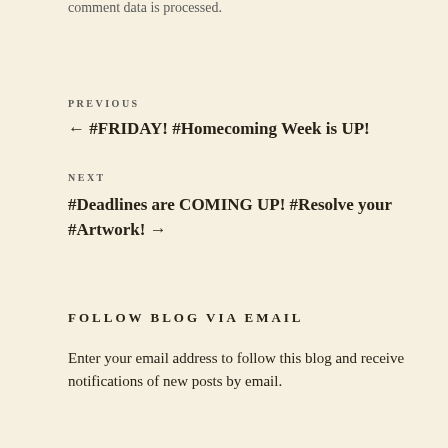comment data is processed.
PREVIOUS
← #FRIDAY! #Homecoming Week is UP!
NEXT
#Deadlines are COMING UP! #Resolve your #Artwork! →
FOLLOW BLOG VIA EMAIL
Enter your email address to follow this blog and receive notifications of new posts by email.